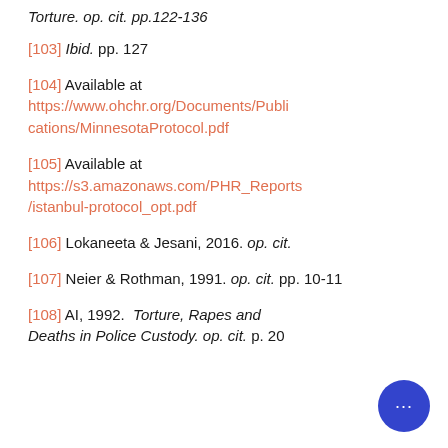Torture. op. cit. pp.122-136
[103] Ibid. pp. 127
[104] Available at https://www.ohchr.org/Documents/Publications/MinnesotaProtocol.pdf
[105] Available at https://s3.amazonaws.com/PHR_Reports/istanbul-protocol_opt.pdf
[106] Lokaneeta & Jesani, 2016. op. cit.
[107] Neier & Rothman, 1991. op. cit. pp. 10-11
[108] AI, 1992. Torture, Rapes and Deaths in Police Custody. op. cit. p. 20